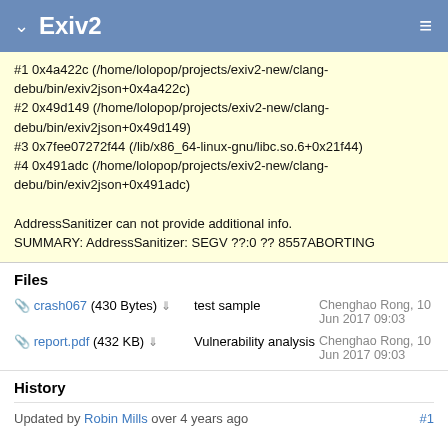Exiv2
#1 0x4a422c (/home/lolopop/projects/exiv2-new/clang-debu/bin/exiv2json+0x4a422c)
#2 0x49d149 (/home/lolopop/projects/exiv2-new/clang-debu/bin/exiv2json+0x49d149)
#3 0x7fee07272f44 (/lib/x86_64-linux-gnu/libc.so.6+0x21f44)
#4 0x491adc (/home/lolopop/projects/exiv2-new/clang-debu/bin/exiv2json+0x491adc)

AddressSanitizer can not provide additional info.
SUMMARY: AddressSanitizer: SEGV ??:0 ?? 8557ABORTING
Files
| File | Description | Uploaded by |
| --- | --- | --- |
| crash067 (430 Bytes) | test sample | Chenghao Rong, 10 Jun 2017 09:03 |
| report.pdf (432 KB) | Vulnerability analysis | Chenghao Rong, 10 Jun 2017 09:03 |
History
Updated by Robin Mills over 4 years ago #1